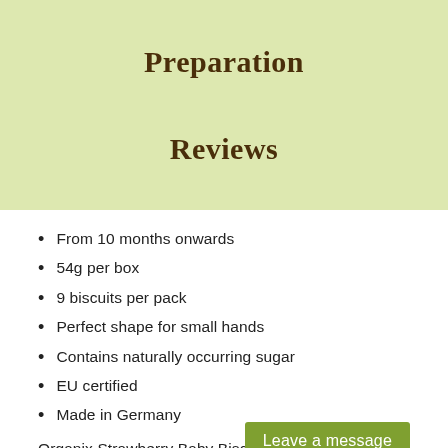Preparation
Reviews
From 10 months onwards
54g per box
9 biscuits per pack
Perfect shape for small hands
Contains naturally occurring sugar
EU certified
Made in Germany
Organix Strawberry Baby Biscuit